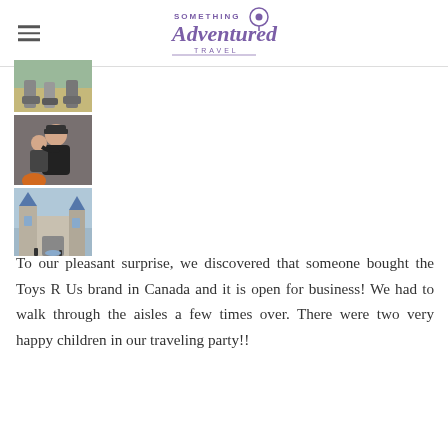Something Adventured Travel
[Figure (photo): Three stacked thumbnail photos: top shows legs/feet of people, middle shows two people hugging (one wearing a black cap), bottom shows a castle-like building exterior]
To our pleasant surprise, we discovered that someone bought the Toys R Us brand in Canada and it is open for business! We had to walk through the aisles a few times over. There were two very happy children in our traveling party!!